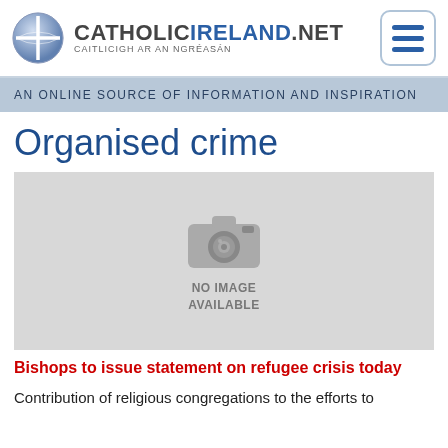CATHOLICIRELAND.NET — CAITLICIGH AR AN NGRÉASÁN
AN ONLINE SOURCE OF INFORMATION AND INSPIRATION
Organised crime
[Figure (photo): Image placeholder showing camera icon with text NO IMAGE AVAILABLE]
Bishops to issue statement on refugee crisis today
Contribution of religious congregations to the efforts to